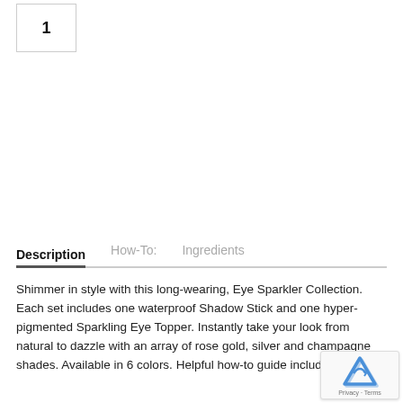1
Description | How-To: | Ingredients
Shimmer in style with this long-wearing, Eye Sparkler Collection. Each set includes one waterproof Shadow Stick and one hyper-pigmented Sparkling Eye Topper. Instantly take your look from natural to dazzle with an array of rose gold, silver and champagne shades. Available in 6 colors. Helpful how-to guide included.